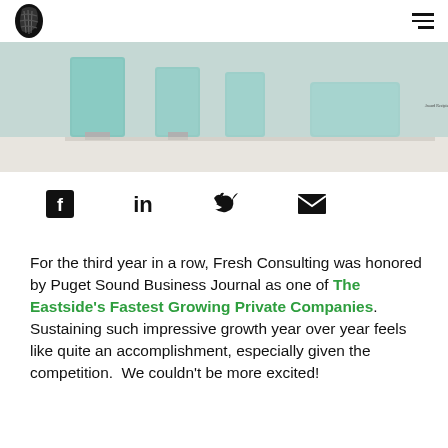[Fresh Consulting logo] [hamburger menu]
[Figure (photo): Photo of glass/crystal award trophies on a white surface, partially cropped at top of page]
[Figure (infographic): Social media share icons: Facebook, LinkedIn, Twitter, Email]
For the third year in a row, Fresh Consulting was honored by Puget Sound Business Journal as one of The Eastside's Fastest Growing Private Companies.  Sustaining such impressive growth year over year feels like quite an accomplishment, especially given the competition.  We couldn't be more excited!